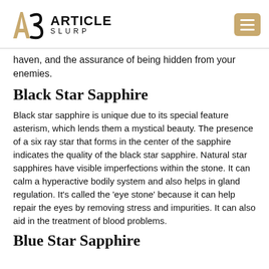ARTICLE SLURP
haven, and the assurance of being hidden from your enemies.
Black Star Sapphire
Black star sapphire is unique due to its special feature asterism, which lends them a mystical beauty. The presence of a six ray star that forms in the center of the sapphire indicates the quality of the black star sapphire. Natural star sapphires have visible imperfections within the stone. It can calm a hyperactive bodily system and also helps in gland regulation. It's called the ‘eye stone’ because it can help repair the eyes by removing stress and impurities. It can also aid in the treatment of blood problems.
Blue Star Sapphire